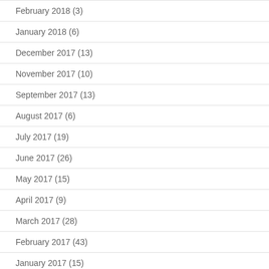February 2018 (3)
January 2018 (6)
December 2017 (13)
November 2017 (10)
September 2017 (13)
August 2017 (6)
July 2017 (19)
June 2017 (26)
May 2017 (15)
April 2017 (9)
March 2017 (28)
February 2017 (43)
January 2017 (15)
December 2016 (13)